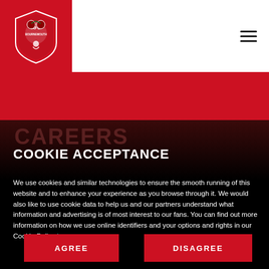[Figure (logo): AFC Bournemouth club crest/shield logo in red and white on red background]
CAREERS
COOKIE ACCEPTANCE
We use cookies and similar technologies to ensure the smooth running of this website and to enhance your experience as you browse through it. We would also like to use cookie data to help us and our partners understand what information and advertising is of most interest to our fans. You can find out more information on how we use online identifiers and your options and rights in our Cookie Policy here.
AGREE
DISAGREE